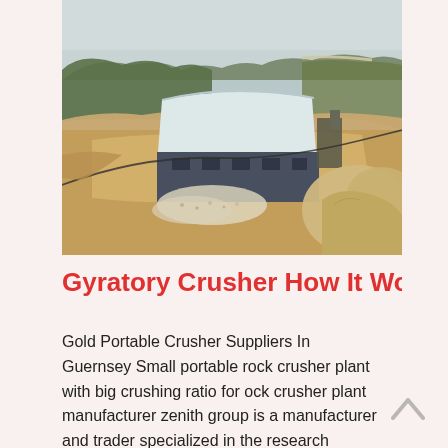[Figure (photo): Aerial view of a quarry / rock crushing plant facility in mountainous terrain. A large industrial building with a curved white/grey roof is visible amid sandy, excavated earth and green hillsides in the background. A cable or wire runs diagonally across the foreground.]
Gyratory Crusher How It Works Cr
Gold Portable Crusher Suppliers In Guernsey Small portable rock crusher plant with big crushing ratio for ock crusher plant manufacturer zenith group is a manufacturer and trader specialized in the research development and production of machinery for nearly 30 yearsrelated equipment